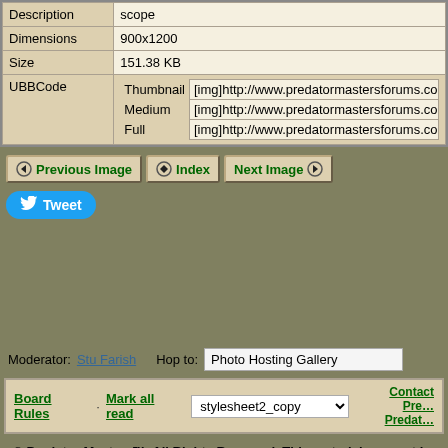| Field | Value |
| --- | --- |
| Description | scope |
| Dimensions | 900x1200 |
| Size | 151.38 KB |
| UBBCode | Thumbnail [img]http://www.predatormastersforums.com/foru...
Medium [img]http://www.predatormastersforums.com/foru...
Full [img]http://www.predatormastersforums.com/foru... |
Previous Image | Index | Next Image
Tweet
Moderator: Stu Farish   Hop to: Photo Hosting Gallery
Board Rules · Mark all read  stylesheet2_copy  Contact Predator Masters / Predator Masters
© Predator Masters™, All Rights Reserved. This material may not be published, broadcast, rewritten, or redistributed.
Powered by UBB.threads™ PHP Forum Software 7.5.6p2